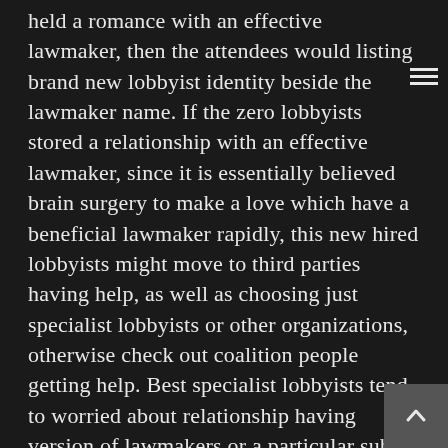held a romance with an effective lawmaker, then the attendees would listing brand new lobbyist identity beside the lawmaker name. If the zero lobbyists stored a relationship with an effective lawmaker, since it is essentially believed brain surgery to make a love which have a beneficial lawmaker rapidly, this new hired lobbyists might move to third parties having help, as well as choosing just specialist lobbyists or other organizations, otherwise check out coalition people getting help. Best specialist lobbyists tend to worried about relationship having version of lawmakers or a particular subset away from lawmakers-the brand new democratic registration from a specific panel, for example-and you will do preserve a lot of organization centered on initiating people relationship alone. Shortly after allotted to a particular lawmaker into the spreadsheet, one to lobbyist carry out after that feel the duty of changing